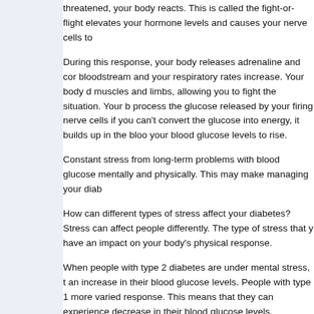threatened, your body reacts. This is called the fight-or-flight elevates your hormone levels and causes your nerve cells to
During this response, your body releases adrenaline and cortisol into your bloodstream and your respiratory rates increase. Your body diverts blood to muscles and limbs, allowing you to fight the situation. Your body may not process the glucose released by your firing nerve cells if you have diabetes. It can't convert the glucose into energy, it builds up in the blood causing your blood glucose levels to rise.
Constant stress from long-term problems with blood glucose can affect you mentally and physically. This may make managing your diab
How can different types of stress affect your diabetes? Stress can affect people differently. The type of stress that you experience can have an impact on your body's physical response.
When people with type 2 diabetes are under mental stress, they generally experience an increase in their blood glucose levels. People with type 1 diabetes may have a more varied response. This means that they can experience either an increase or a decrease in their blood glucose levels.
When you're under physical stress, your blood sugar can also